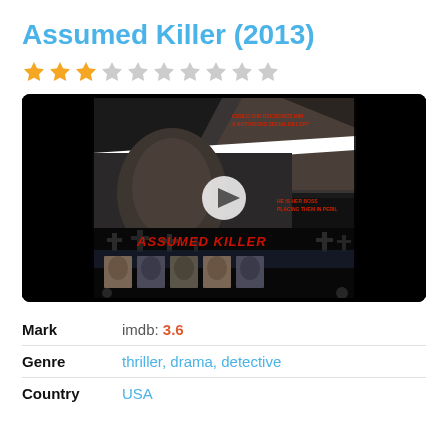Assumed Killer (2013)
[Figure (other): Movie poster and video thumbnail for 'Assumed Killer' showing two faces (man and woman), cemetery crosses, cast headshots, and a play button overlay on a dark background]
| Mark | imdb: 3.6 |
| Genre | thriller, drama, detective |
| Country | USA |